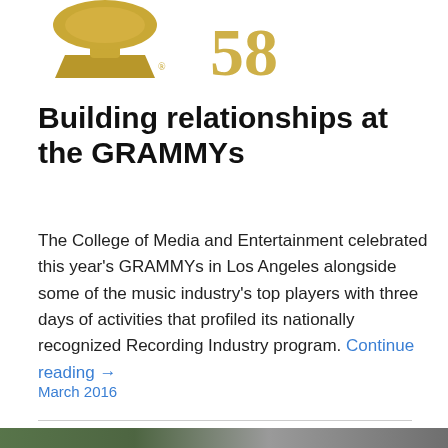[Figure (logo): Grammy Award logo — partial view showing gold gramophone trophy and '58' text in gold serif font on white background]
Building relationships at the GRAMMYs
The College of Media and Entertainment celebrated this year's GRAMMYs in Los Angeles alongside some of the music industry's top players with three days of activities that profiled its nationally recognized Recording Industry program. Continue reading →
March 2016
[Figure (photo): Partial bottom strip of a photo, appears to show outdoor scene with greenery]